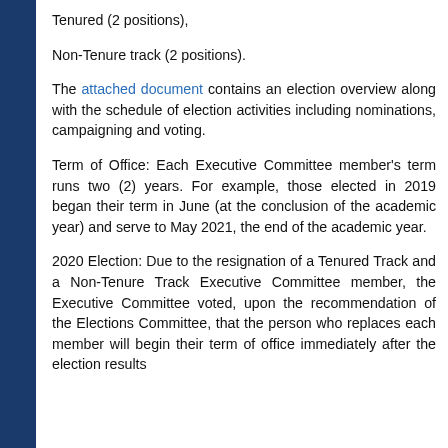Tenured (2 positions),
Non-Tenure track (2 positions).
The attached document contains an election overview along with the schedule of election activities including nominations, campaigning and voting.
Term of Office: Each Executive Committee member's term runs two (2) years. For example, those elected in 2019 began their term in June (at the conclusion of the academic year) and serve to May 2021, the end of the academic year.
2020 Election: Due to the resignation of a Tenured Track and a Non-Tenure Track Executive Committee member, the Executive Committee voted, upon the recommendation of the Elections Committee, that the person who replaces each member will begin their term of office immediately after the election results